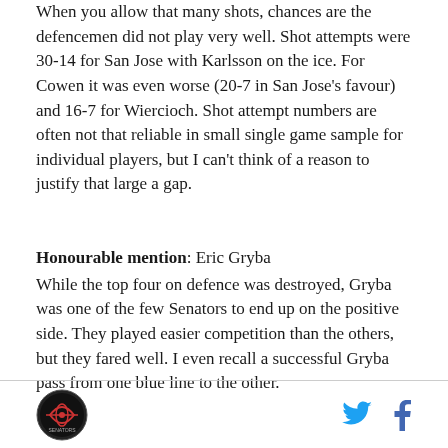When you allow that many shots, chances are the defencemen did not play very well. Shot attempts were 30-14 for San Jose with Karlsson on the ice. For Cowen it was even worse (20-7 in San Jose's favour) and 16-7 for Wiercioch. Shot attempt numbers are often not that reliable in small single game sample for individual players, but I can't think of a reason to justify that large a gap.
Honourable mention: Eric Gryba
While the top four on defence was destroyed, Gryba was one of the few Senators to end up on the positive side. They played easier competition than the others, but they fared well. I even recall a successful Gryba pass from one blue line to the other.
Logo | Twitter | Facebook